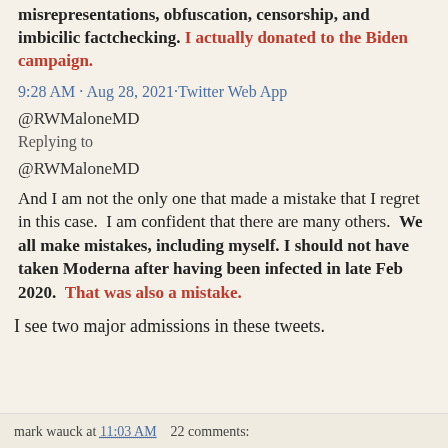misrepresentations, obfuscation, censorship, and imbicilic factchecking. I actually donated to the Biden campaign.
9:28 AM · Aug 28, 2021·Twitter Web App
@RWMaloneMD
Replying to
@RWMaloneMD
And I am not the only one that made a mistake that I regret in this case.  I am confident that there are many others.  We all make mistakes, including myself. I should not have taken Moderna after having been infected in late Feb 2020.  That was also a mistake.
I see two major admissions in these tweets.
mark wauck at 11:03 AM   22 comments: